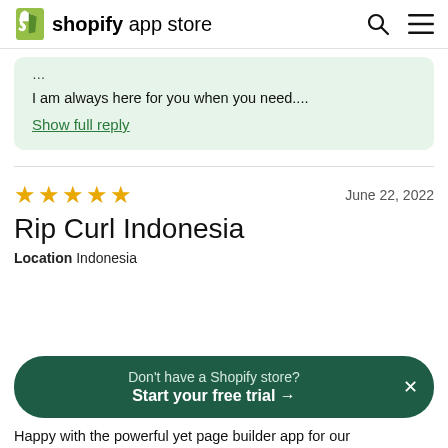shopify app store
I am always here for you when you need....
Show full reply
June 22, 2022
Rip Curl Indonesia
Location  Indonesia
Don't have a Shopify store? Start your free trial →
Happy with the powerful yet page builder app for our